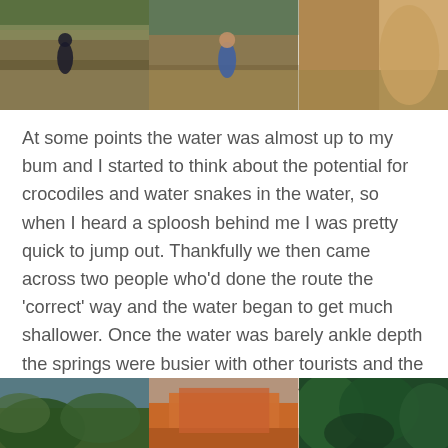[Figure (photo): Three side-by-side photos of people wading through a shallow rocky creek/river in a canyon setting with brown water and green vegetation]
At some points the water was almost up to my bum and I started to think about the potential for crocodiles and water snakes in the water, so when I heard a sploosh behind me I was pretty quick to jump out. Thankfully we then came across two people who'd done the route the 'correct' way and the water began to get much shallower. Once the water was barely ankle depth the springs were busier with other tourists and the contrast of the white rock formations against the orange sand was quite striking.
[Figure (photo): Three side-by-side photos showing: green tree canopy against blue sky, orange/red rock formation, and dense green foliage/vegetation]